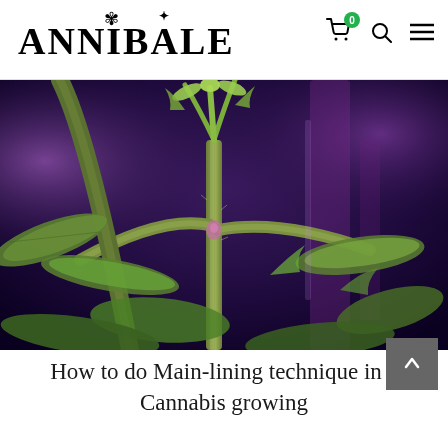ANNIBALE
[Figure (photo): Close-up macro photograph of a cannabis plant under purple/blue grow lights, showing the main stem, fan leaves, and developing growth tips with fine hairs visible on the stems. Background shows purple LED lighting.]
How to do Main-lining technique in a Cannabis growing